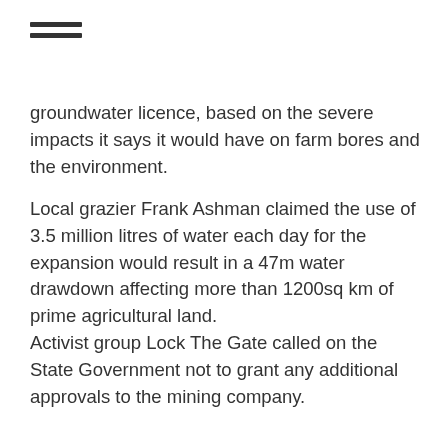≡
groundwater licence, based on the severe impacts it says it would have on farm bores and the environment.
Local grazier Frank Ashman claimed the use of 3.5 million litres of water each day for the expansion would result in a 47m water drawdown affecting more than 1200sq km of prime agricultural land.
Activist group Lock The Gate called on the State Government not to grant any additional approvals to the mining company.
It noted the Land Court's decision had acknowledged the severe impacts noise and dust from the existing mine have had on nearby farmers and other residents.
The Acland Stage 3 project was originally refused on